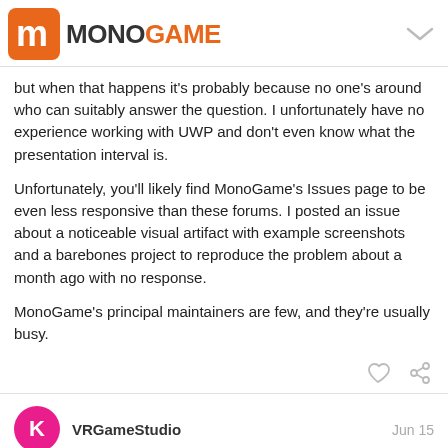MONOGAME
but when that happens it's probably because no one's around who can suitably answer the question. I unfortunately have no experience working with UWP and don't even know what the presentation interval is.
Unfortunately, you'll likely find MonoGame's Issues page to be even less responsive than these forums. I posted an issue about a noticeable visual artifact with example screenshots and a barebones project to reproduce the problem about a month ago with no response.
MonoGame's principal maintainers are few, and they're usually busy.
VRGameStudio Jun 15